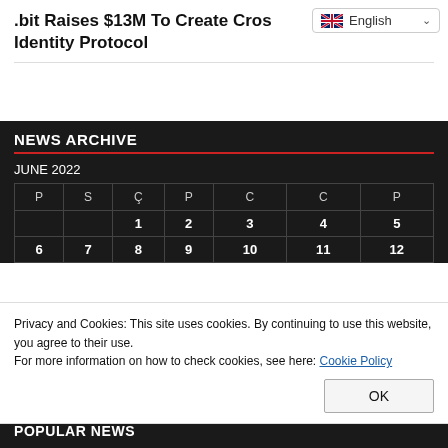.bit Raises $13M To Create Cross-Chain Identity Protocol
NEWS ARCHIVE
JUNE 2022
| P | S | Ç | P | C | C | P |
| --- | --- | --- | --- | --- | --- | --- |
|  |  | 1 | 2 | 3 | 4 | 5 |
| 6 | 7 | 8 | 9 | 10 | 11 | 12 |
Privacy and Cookies: This site uses cookies. By continuing to use this website, you agree to their use.
For more information on how to check cookies, see here: Cookie Policy
POPULAR NEWS